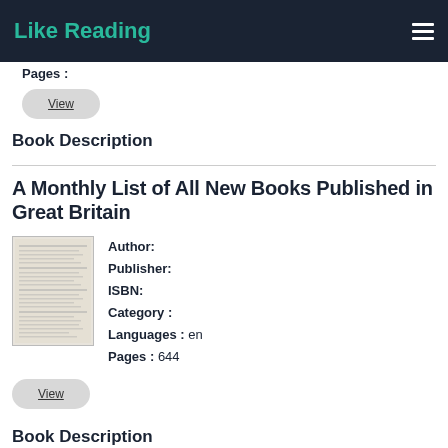Like Reading
Pages :
View
Book Description
A Monthly List of All New Books Published in Great Britain
Author:
Publisher:
ISBN:
Category:
Languages : en
Pages : 644
View
Book Description